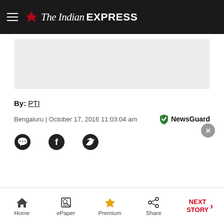The Indian EXPRESS
[Figure (other): Advertisement placeholder area (gray box)]
By: PTI
Bengaluru | October 17, 2016 11:03:04 am
[Figure (infographic): NewsGuard shield badge with checkmark, green color, with close button X]
[Figure (infographic): Social share icons: WhatsApp, Facebook, Twitter]
Home | ePaper | Premium | Share | NEXT STORY